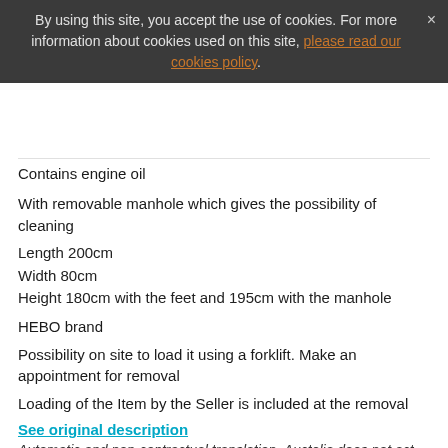By using this site, you accept the use of cookies. For more information about cookies used on this site, please read our cookies policy.
Contains engine oil
With removable manhole which gives the possibility of cleaning
Length 200cm
Width 80cm
Height 180cm with the feet and 195cm with the manhole
HEBO brand
Possibility on site to load it using a forklift. Make an appointment for removal
Loading of the Item by the Seller is included at the removal
See original description
Automatic and non-contractual translation. Auctelia does not act as representative for this sale.
List of items